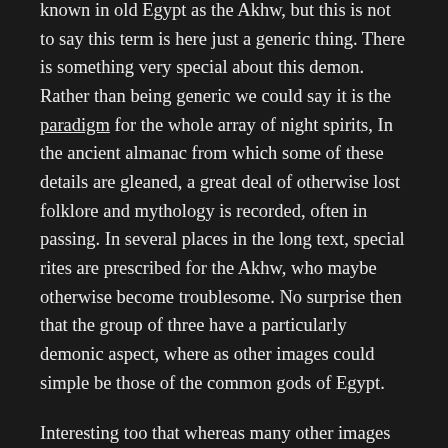known in old Egypt as the Akhw, but this is not to say this term is here just a generic thing. There is something very special about this demon. Rather than being generic we could say it is the paradigm for the whole array of night spirits, In the ancient almanac from which some of these details are gleaned, a great deal of otherwise lost folklore and mythology is recorded, often in passing. In several places in the long text, special rites are prescribed for the Akhw, who maybe otherwise become troublesome. No surprise then that the group of three have a particularly demonic aspect, where as other images could simple be those of the common gods of Egypt.
Interesting too that whereas many other images of the demons have been mutilated in later times, these three survive intact. Here’s an example of one of the other images, although with the typical mutilation of the effective organs, the face & hands. The context of these mutilations is a subject in its own right and very interesting magick too: